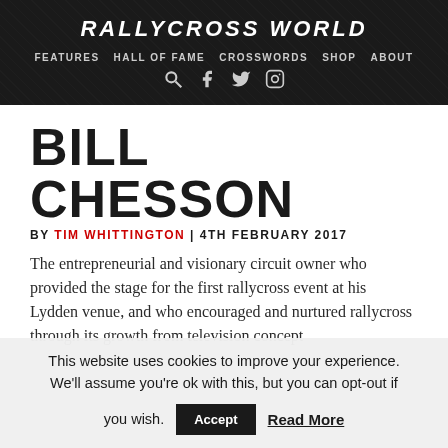RALLYCROSS WORLD
FEATURES  HALL OF FAME  CROSSWORDS  SHOP  ABOUT
BILL CHESSON
BY TIM WHITTINGTON | 4TH FEBRUARY 2017
The entrepreneurial and visionary circuit owner who provided the stage for the first rallycross event at his Lydden venue, and who encouraged and nurtured rallycross through its growth from television concept
This website uses cookies to improve your experience. We'll assume you're ok with this, but you can opt-out if you wish.  Accept  Read More